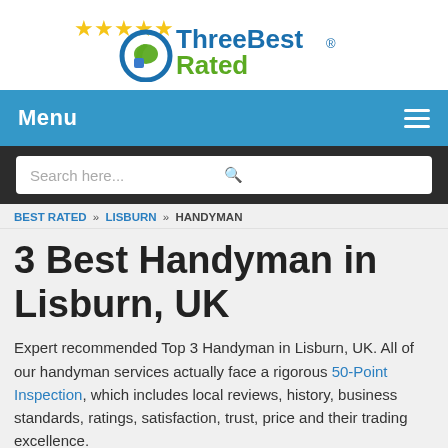[Figure (logo): ThreeBestRated logo with five gold stars, a blue circle with thumbs up icon, and green/blue text reading 'ThreeBest Rated' with registered trademark symbol]
Menu
Search here...
BEST RATED » LISBURN » HANDYMAN
3 Best Handyman in Lisburn, UK
Expert recommended Top 3 Handyman in Lisburn, UK. All of our handyman services actually face a rigorous 50-Point Inspection, which includes local reviews, history, business standards, ratings, satisfaction, trust, price and their trading excellence.